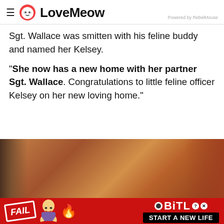LoveMeow — Powered by RebelMouse
Sgt. Wallace was smitten with his feline buddy and named her Kelsey.
"She now has a new home with her partner Sgt. Wallace. Congratulations to little feline officer Kelsey on her new loving home."
[Figure (photo): Close-up photo showing warm brown/orange tones, likely a cat or cardboard box]
[Figure (screenshot): Advertisement banner for BitLife game: FAIL graphic, animated girl, flame emoji, BitLife logo with question mark, START A NEW LIFE button on red background]